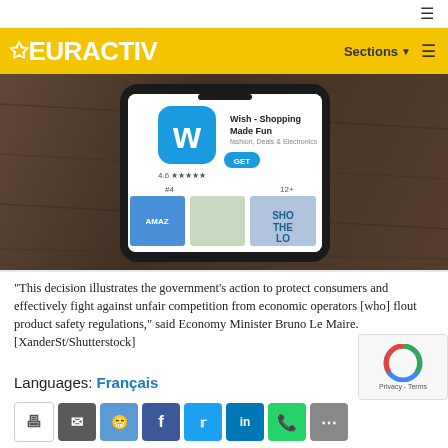EURACTIV — Sections
[Figure (photo): A smartphone displaying the Wish - Shopping Made Fun app in an app store, showing a 4.6 star rating and GET button, placed on a dark wooden surface.]
"This decision illustrates the government's action to protect consumers and effectively fight against unfair competition from economic operators [who] flout product safety regulations," said Economy Minister Bruno Le Maire. [XanderSt/Shutterstock]
Languages: Français
Share buttons: print, email, reddit, facebook, twitter, linkedin, whatsapp, more